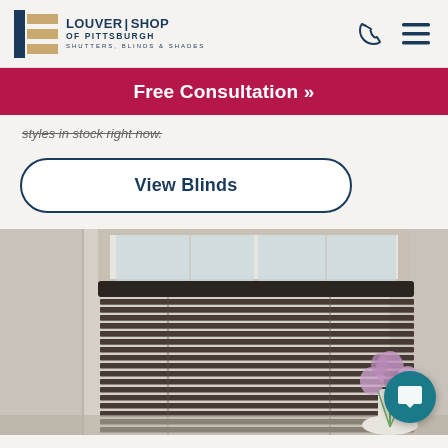Louver Shop of Pittsburgh — Shutters, Blinds & Shades
Free Consultation »
styles in stock right now.
View Blinds
[Figure (photo): Photo of dark wood horizontal blinds mounted on a window, with white walls and a vase of purple flowers in the lower right corner. A round teal chat bubble icon overlays the bottom-right corner.]